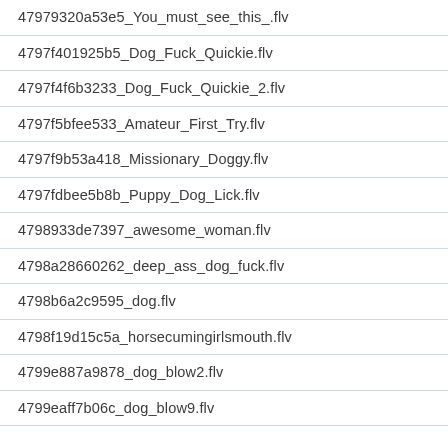47979320a53e5_You_must_see_this_.flv
4797f401925b5_Dog_Fuck_Quickie.flv
4797f4f6b3233_Dog_Fuck_Quickie_2.flv
4797f5bfee533_Amateur_First_Try.flv
4797f9b53a418_Missionary_Doggy.flv
4797fdbee5b8b_Puppy_Dog_Lick.flv
4798933de7397_awesome_woman.flv
4798a28660262_deep_ass_dog_fuck.flv
4798b6a2c9595_dog.flv
4798f19d15c5a_horsecumingirlsmouth.flv
4799e887a9878_dog_blow2.flv
4799eaff7b06c_dog_blow9.flv